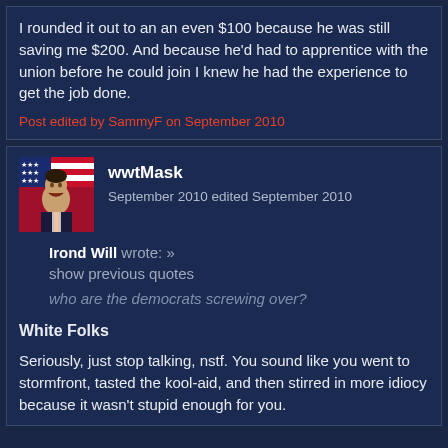I rounded it out to an an even $100 because he was still saving me $200. And because he'd had to apprentice with the union before he could join I knew he had the experience to get the job done.
Post edited by SammyF on September 2010
wwtMask
September 2010 edited September 2010
Irond Will wrote: »
show previous quotes
who are the democrats screwing over?
White Folks
Seriously, just stop talking, nstf. You sound like you went to stormfront, tasted the kool-aid, and then stirred in more idiocy because it wasn't stupid enough for you.